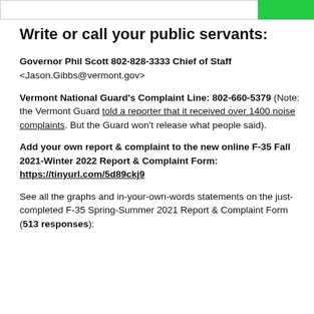[Figure (other): Top bar with white input field area and green button on the right]
Write or call your public servants:
Governor Phil Scott 802-828-3333 Chief of Staff <Jason.Gibbs@vermont.gov>
Vermont National Guard's Complaint Line: 802-660-5379 (Note: the Vermont Guard told a reporter that it received over 1400 noise complaints. But the Guard won't release what people said).
Add your own report & complaint to the new online F-35 Fall 2021-Winter 2022 Report & Complaint Form: https://tinyurl.com/5d89ckj9
See all the graphs and in-your-own words statements on the just-completed F-35 Spring-Summer 2021 Report & Complaint Form (513 responses):